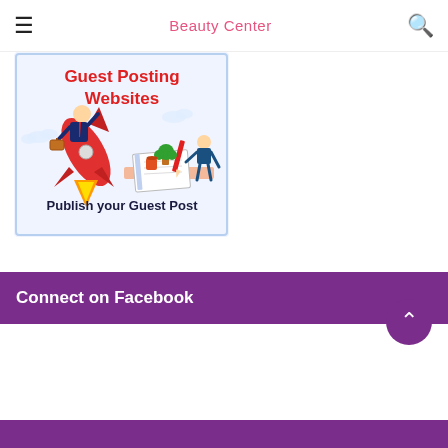≡  Beauty Center  🔍
[Figure (illustration): Promotional illustration for Guest Posting Websites showing a cartoon businessman riding a rocket, with text 'Guest Posting Websites' in red and 'Publish your Guest Post' in dark blue, plus a figure writing on a notebook with a pencil]
Connect on Facebook